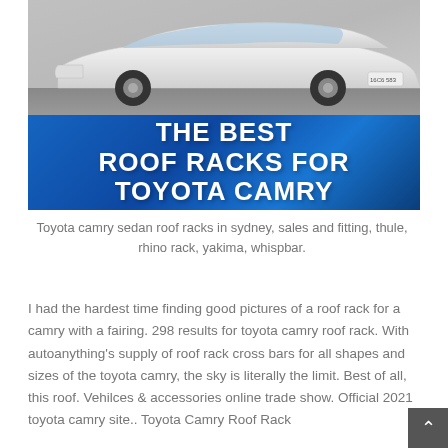[Figure (photo): White Toyota Camry front/side view on a parking surface, with a blue banner overlay reading 'THE BEST ROOF RACKS FOR TOYOTA CAMRY' in bold white uppercase text]
Toyota camry sedan roof racks in sydney, sales and fitting, thule, rhino rack, yakima, whispbar.
I had the hardest time finding good pictures of a roof rack for a camry with a fairing. 298 results for toyota camry roof rack. With autoanything's supply of roof rack cross bars for all shapes and sizes of the toyota camry, the sky is literally the limit. Best of all, this roof. Vehilces & accessories online trade show. Official 2021 toyota camry site.. Toyota Camry Roof Rack